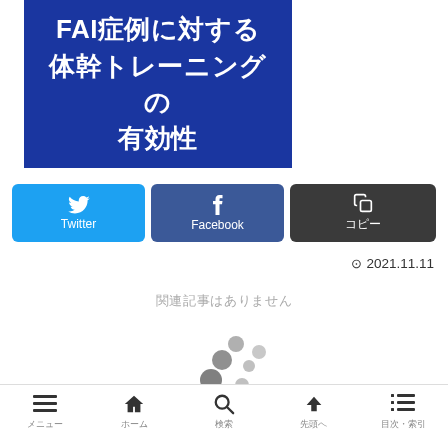[Figure (illustration): Blue background image with white bold Japanese text reading 'FAI症例に対する体幹トレーニングの有効性' (Effectiveness of trunk training for FAI cases)]
Twitter
Facebook
コピー
⊙ 2021.11.11
関連記事はありません
[Figure (illustration): Loading spinner animation dots]
メニュー　ホーム　検索　先頭へ　目次・索引